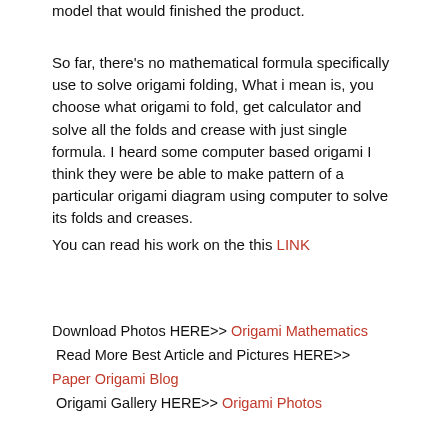model that would finished the product.
So far, there's no mathematical formula specifically use to solve origami folding, What i mean is, you choose what origami to fold, get calculator and solve all the folds and crease with just single formula. I heard some computer based origami I think they were be able to make pattern of a particular origami diagram using computer to solve its folds and creases.
You can read his work on the this LINK
Download Photos HERE>> Origami Mathematics
 Read More Best Article and Pictures HERE>>
Paper Origami Blog
 Origami Gallery HERE>> Origami Photos